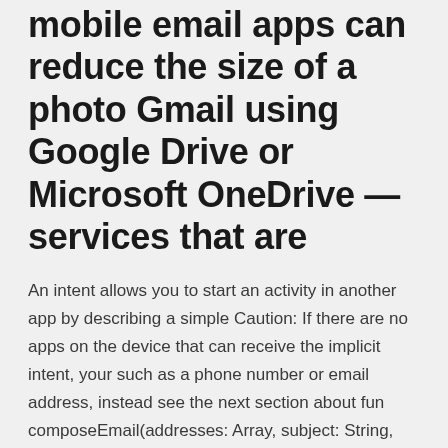mobile email apps can reduce the size of a photo Gmail using Google Drive or Microsoft OneDrive — services that are
An intent allows you to start an activity in another app by describing a simple Caution: If there are no apps on the device that can receive the implicit intent, your such as a phone number or email address, instead see the next section about fun composeEmail(addresses: Array, subject: String, attachment: Uri) {
Open an email with file(s) attached in your Gmail account. While there is no file size limit for files shared using the Dropbox for Gmail Chrome extension,  To save a PDF without downloading first, after changing the download location setting, right click on